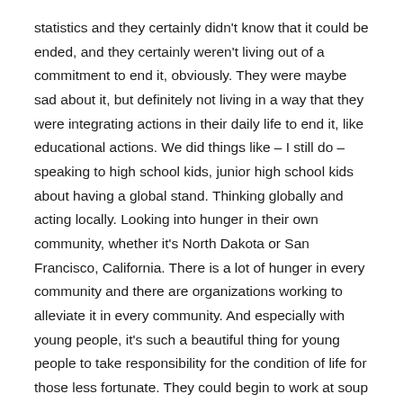statistics and they certainly didn't know that it could be ended, and they certainly weren't living out of a commitment to end it, obviously. They were maybe sad about it, but definitely not living in a way that they were integrating actions in their daily life to end it, like educational actions. We did things like – I still do – speaking to high school kids, junior high school kids about having a global stand. Thinking globally and acting locally. Looking into hunger in their own community, whether it's North Dakota or San Francisco, California. There is a lot of hunger in every community and there are organizations working to alleviate it in every community. And especially with young people, it's such a beautiful thing for young people to take responsibility for the condition of life for those less fortunate. They could begin to work at soup kitchens, they could educate other students, they could have and did have pen pals with whole villages in India, where they would send clothing, books and money to build schools. And you can see if you get a global grassroots commitment, it can generate an enormous accomplishment without any individual giving up their life. It's a shift in thinking, and...